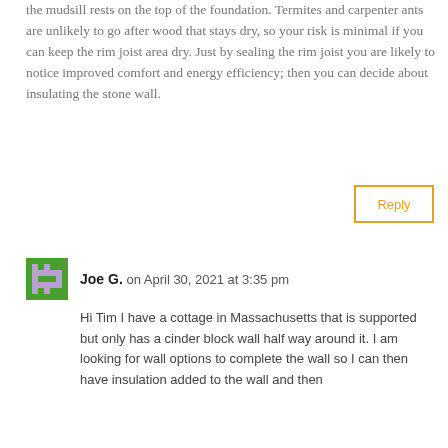the mudsill rests on the top of the foundation. Termites and carpenter ants are unlikely to go after wood that stays dry, so your risk is minimal if you can keep the rim joist area dry. Just by sealing the rim joist you are likely to notice improved comfort and energy efficiency; then you can decide about insulating the stone wall.
Reply
Joe G. on April 30, 2021 at 3:35 pm
Hi Tim I have a cottage in Massachusetts that is supported but only has a cinder block wall half way around it. I am looking for wall options to complete the wall so I can then have insulation added to the wall and then